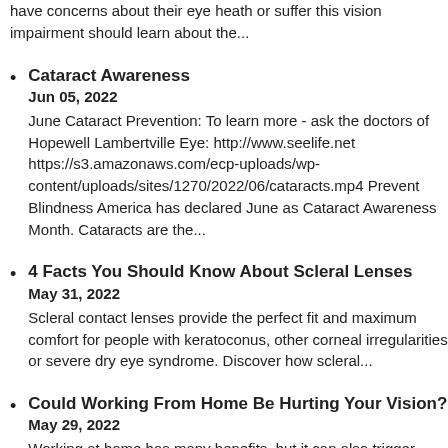have concerns about their eye heath or suffer this vision impairment should learn about the...
Cataract Awareness
Jun 05, 2022
June Cataract Prevention: To learn more  - ask the doctors of Hopewell Lambertville Eye: http://www.seelife.net https://s3.amazonaws.com/ecp-uploads/wp-content/uploads/sites/1270/2022/06/cataracts.mp4 Prevent Blindness America has declared June as Cataract Awareness Month. Cataracts are the...
4 Facts You Should Know About Scleral Lenses
May 31, 2022
Scleral contact lenses provide the perfect fit and maximum comfort for people with keratoconus, other corneal irregularities or severe dry eye syndrome. Discover how scleral...
Could Working From Home Be Hurting Your Vision?
May 29, 2022
Working at home has many benefits, but it can also trigger